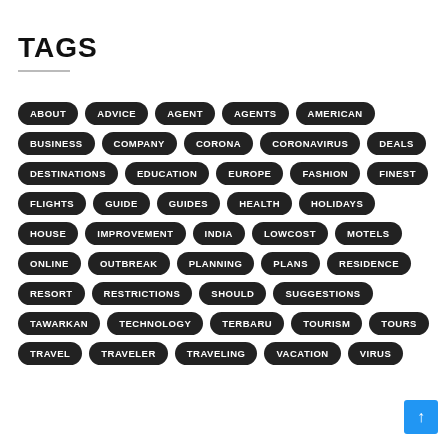TAGS
ABOUT ADVICE AGENT AGENTS AMERICAN BUSINESS COMPANY CORONA CORONAVIRUS DEALS DESTINATIONS EDUCATION EUROPE FASHION FINEST FLIGHTS GUIDE GUIDES HEALTH HOLIDAYS HOUSE IMPROVEMENT INDIA LOWCOST MOTELS ONLINE OUTBREAK PLANNING PLANS RESIDENCE RESORT RESTRICTIONS SHOULD SUGGESTIONS TAWARKAN TECHNOLOGY TERBARU TOURISM TOURS TRAVEL TRAVELER TRAVELING VACATION VIRUS